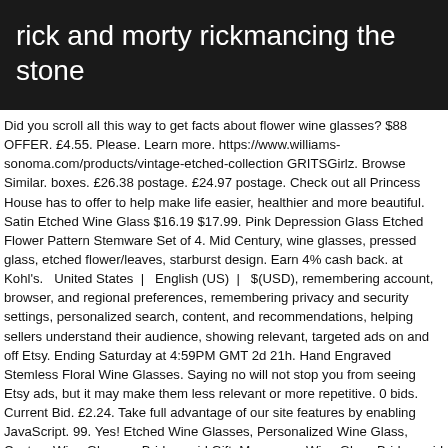rick and morty rickmancing the stone
Did you scroll all this way to get facts about flower wine glasses? $88 OFFER. £4.55. Please. Learn more. https://www.williams-sonoma.com/products/vintage-etched-collection GRITSGirlz. Browse Similar. boxes. £26.38 postage. £24.97 postage. Check out all Princess House has to offer to help make life easier, healthier and more beautiful. Satin Etched Wine Glass $16.19 $17.99. Pink Depression Glass Etched Flower Pattern Stemware Set of 4. Mid Century, wine glasses, pressed glass, etched flower/leaves, starburst design. Earn 4% cash back. at Kohl's.   United States  |   English (US)  |   $(USD), remembering account, browser, and regional preferences, remembering privacy and security settings, personalized search, content, and recommendations, helping sellers understand their audience, showing relevant, targeted ads on and off Etsy. Ending Saturday at 4:59PM GMT 2d 21h. Hand Engraved Stemless Floral Wine Glasses. Saying no will not stop you from seeing Etsy ads, but it may make them less relevant or more repetitive. 0 bids. Current Bid. £2.24. Take full advantage of our site features by enabling JavaScript. 99. Yes! Etched Wine Glasses, Personalized Wine Glass, Custom Wine Glasses, Bridesmaid Gift, Monogram Wine Glass Bridesmaid Wine Glasses Personalized MyPersonalMemories.